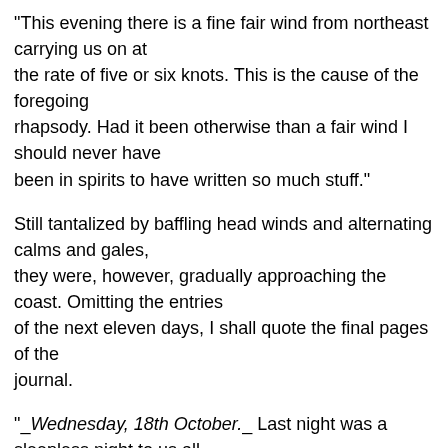"This evening there is a fine fair wind from northeast carrying us on at the rate of five or six knots. This is the cause of the foregoing rhapsody. Had it been otherwise than a fair wind I should never have been in spirits to have written so much stuff."
Still tantalized by baffling head winds and alternating calms and gales, they were, however, gradually approaching the coast. Omitting the entries of the next eleven days, I shall quote the final pages of the journal.
"_Wednesday, 18th October._ Last night was a sleepless night to us all. Everything wore the appearance of a hard storm; all was dull in the cabin; scarce a word was spoken; every one wore a serious aspect and, as any one came from the deck into the cabin, the rest put up an inquisitive and apprehensive look, with now and then a faint, 'Well, how does it look